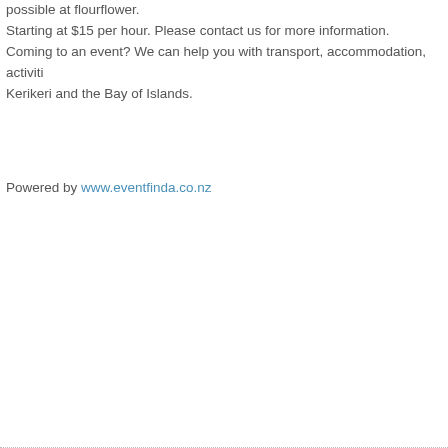possible at flourflower. Starting at $15 per hour. Please contact us for more information. Coming to an event? We can help you with transport, accommodation, activiti... Kerikeri and the Bay of Islands.
Powered by www.eventfinda.co.nz